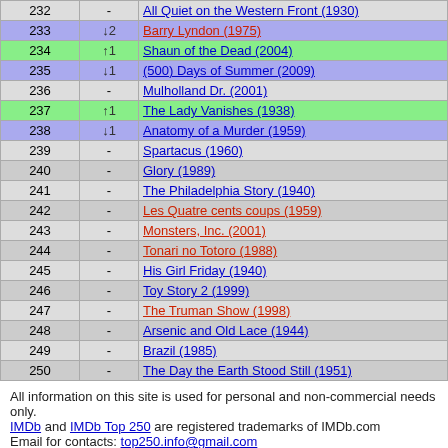| # | Change | Title |
| --- | --- | --- |
| 232 | - | All Quiet on the Western Front (1930) |
| 233 | ↓2 | Barry Lyndon (1975) |
| 234 | ↑1 | Shaun of the Dead (2004) |
| 235 | ↓1 | (500) Days of Summer (2009) |
| 236 | - | Mulholland Dr. (2001) |
| 237 | ↑1 | The Lady Vanishes (1938) |
| 238 | ↓1 | Anatomy of a Murder (1959) |
| 239 | - | Spartacus (1960) |
| 240 | - | Glory (1989) |
| 241 | - | The Philadelphia Story (1940) |
| 242 | - | Les Quatre cents coups (1959) |
| 243 | - | Monsters, Inc. (2001) |
| 244 | - | Tonari no Totoro (1988) |
| 245 | - | His Girl Friday (1940) |
| 246 | - | Toy Story 2 (1999) |
| 247 | - | The Truman Show (1998) |
| 248 | - | Arsenic and Old Lace (1944) |
| 249 | - | Brazil (1985) |
| 250 | - | The Day the Earth Stood Still (1951) |
All information on this site is used for personal and non-commercial needs only.
IMDb and IMDb Top 250 are registered trademarks of IMDb.com
Email for contacts: top250.info@gmail.com